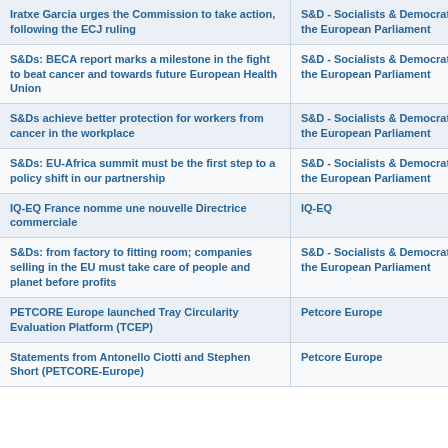| Title | Source |
| --- | --- |
| Iratxe Garcia urges the Commission to take action, following the ECJ ruling | S&D - Socialists & Democrats in the European Parliament |
| S&Ds: BECA report marks a milestone in the fight to beat cancer and towards future European Health Union | S&D - Socialists & Democrats in the European Parliament |
| S&Ds achieve better protection for workers from cancer in the workplace | S&D - Socialists & Democrats in the European Parliament |
| S&Ds: EU-Africa summit must be the first step to a policy shift in our partnership | S&D - Socialists & Democrats in the European Parliament |
| IQ-EQ France nomme une nouvelle Directrice commerciale | IQ-EQ |
| S&Ds: from factory to fitting room; companies selling in the EU must take care of people and planet before profits | S&D - Socialists & Democrats in the European Parliament |
| PETCORE Europe launched Tray Circularity Evaluation Platform (TCEP) | Petcore Europe |
| Statements from Antonello Ciotti and Stephen Short (PETCORE-Europe) | Petcore Europe |